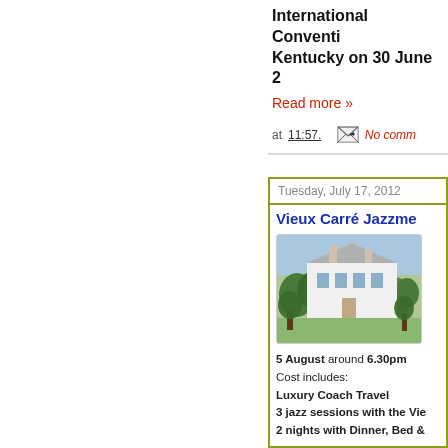International Convention Kentucky on 30 June 2
Read more »
at 11:57. [email icon] No comm
Tuesday, July 17, 2012
Vieux Carré Jazzme
[Figure (photo): Exterior photo of a large white manor/hotel building surrounded by trees and greenery]
5 August around 6.30pm
Cost includes:
Luxury Coach Travel
3 jazz sessions with the Vie
2 nights with Dinner, Bed &